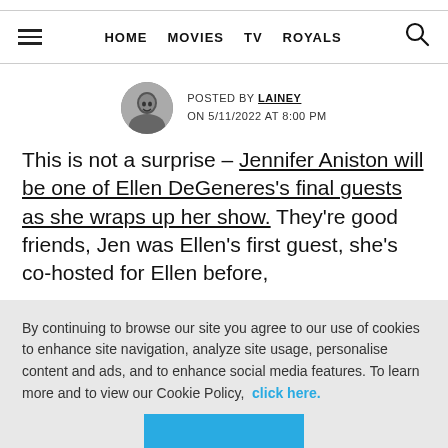HOME  MOVIES  TV  ROYALS
POSTED BY LAINEY
ON 5/11/2022 AT 8:00 PM
This is not a surprise – Jennifer Aniston will be one of Ellen DeGeneres's final guests as she wraps up her show. They're good friends, Jen was Ellen's first guest, she's co-hosted for Ellen before,
By continuing to browse our site you agree to our use of cookies to enhance site navigation, analyze site usage, personalise content and ads, and to enhance social media features. To learn more and to view our Cookie Policy,  click here.